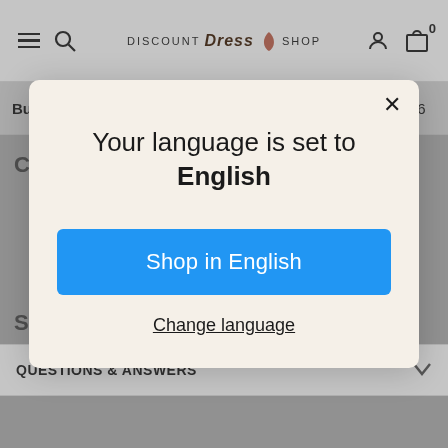DISCOUNT Dress SHOP
| Bust | 33 | 34 | 35 | 36 | 37 | 38 | 40 | 42 | 44 | 46 |
| --- | --- | --- | --- | --- | --- | --- | --- | --- | --- | --- |
Your language is set to English
Shop in English
Change language
QUESTIONS & ANSWERS